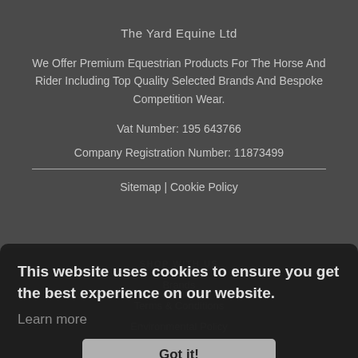The Yard Equine Ltd
We Offer Premium Equestrian Products For The Horse And Rider Including Top Quality Selected Brands And Bespoke Competition Wear.
Vat Number: 195 643766
Company Registration Number: 11873499
Sitemap | Cookie Policy
SHOP WITH US
Brands
Terms & Conditions
Environmental Policy
Delivery Policy
Returns
This website uses cookies to ensure you get the best experience on our website.
Learn more
Got it!